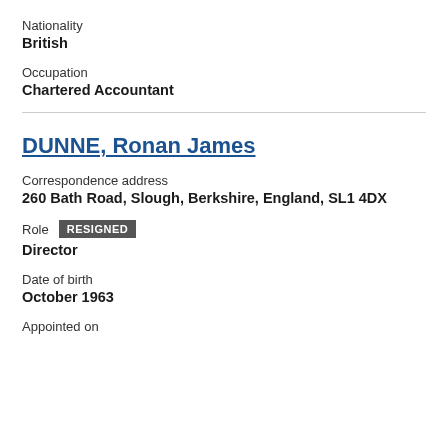Nationality
British
Occupation
Chartered Accountant
DUNNE, Ronan James
Correspondence address
260 Bath Road, Slough, Berkshire, England, SL1 4DX
Role  RESIGNED
Director
Date of birth
October 1963
Appointed on